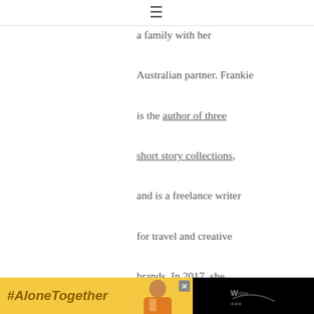≡
a family with her Australian partner. Frankie is the author of three short story collections, and is a freelance writer for travel and creative brands. In 2017, she launched WriteNOW Cards, affirmation cards for writers that help build a productive and positive
[Figure (infographic): #AloneTogether advertisement banner at the bottom of the page with a person image and logo]